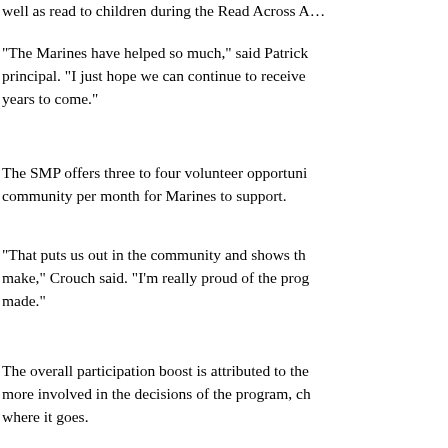well as read to children during the Read Across A…
“The Marines have helped so much,” said Patrick principal. “I just hope we can continue to receive years to come.”
The SMP offers three to four volunteer opportuni community per month for Marines to support.
“That puts us out in the community and shows th make,” Crouch said. “I’m really proud of the prog made.”
The overall participation boost is attributed to the more involved in the decisions of the program, ch where it goes.
“It’s gone through a total overhaul,” said Lance C SMP council vice president. “Before, it was just a getting it set up. There wasn’t as much focus on input.”
In August, the SMP restructured its meetings, giv program’s council comprised of Marines from all
“We put decisions back in the council’s hands. S has a say in everything the program does,” Crou
The program is administered by Marine Corps C